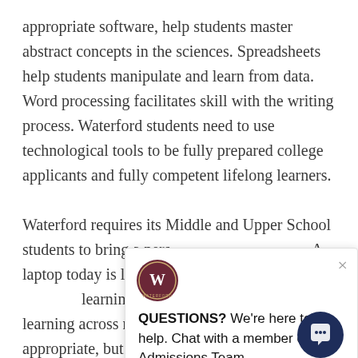appropriate software, help students master abstract concepts in the sciences. Spreadsheets help students manipulate and learn from data. Word processing facilitates skill with the writing process. Waterford students need to use technological tools to be fully prepared college applicants and fully competent lifelong learners.

Waterford requires its Middle and Upper School students to bring a personal laptop to school. A laptop today is like a book — it is an essential learning tool that, when used appropriately, deepens learning across many disciplines. Technology matters when appropriate, but Waterford is also determined in order to make a place for the human, both in body and soul. Waterford strives to teach and guide and counsel students on responsible technology use to ensure that wisdom grows along with skill.
[Figure (screenshot): Chat widget overlay with Waterford school logo (circular emblem with W), a close (×) button, and text: QUESTIONS? We're here to help. Chat with a member of the Admissions Team. A dark navy circular chat button appears at bottom right.]